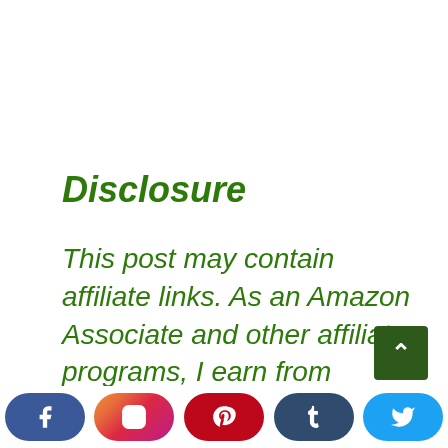Disclosure
This post may contain affiliate links. As an Amazon Associate and other affiliate programs, I earn from qualifying purchases. Read my full disclosure.
[Figure (infographic): Social media share buttons row: Facebook (blue rounded), Instagram (gradient rounded), Pinterest (red rounded), Tumblr (dark blue rounded), Twitter (light blue rounded). Also a dark green back-to-top arrow button.]